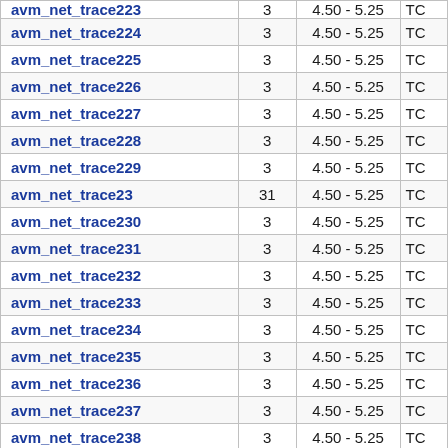| Name | Count | Range | Type |
| --- | --- | --- | --- |
| avm_net_trace223 | 3 | 4.50 - 5.25 | TC |
| avm_net_trace224 | 3 | 4.50 - 5.25 | TC |
| avm_net_trace225 | 3 | 4.50 - 5.25 | TC |
| avm_net_trace226 | 3 | 4.50 - 5.25 | TC |
| avm_net_trace227 | 3 | 4.50 - 5.25 | TC |
| avm_net_trace228 | 3 | 4.50 - 5.25 | TC |
| avm_net_trace229 | 3 | 4.50 - 5.25 | TC |
| avm_net_trace23 | 31 | 4.50 - 5.25 | TC |
| avm_net_trace230 | 3 | 4.50 - 5.25 | TC |
| avm_net_trace231 | 3 | 4.50 - 5.25 | TC |
| avm_net_trace232 | 3 | 4.50 - 5.25 | TC |
| avm_net_trace233 | 3 | 4.50 - 5.25 | TC |
| avm_net_trace234 | 3 | 4.50 - 5.25 | TC |
| avm_net_trace235 | 3 | 4.50 - 5.25 | TC |
| avm_net_trace236 | 3 | 4.50 - 5.25 | TC |
| avm_net_trace237 | 3 | 4.50 - 5.25 | TC |
| avm_net_trace238 | 3 | 4.50 - 5.25 | TC |
| avm_net_trace239 | 3 | 4.50 - 5.25 | TC |